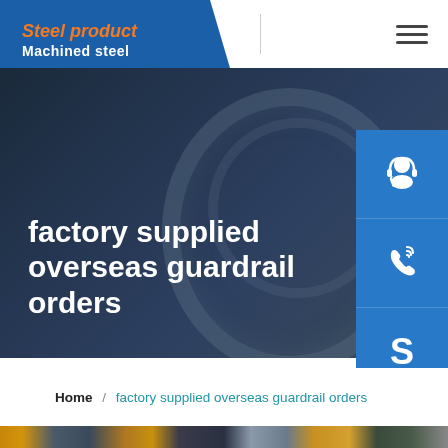Steel product / Machined steel
factory supplied overseas guardrail orders
[Figure (screenshot): Three blue sidebar icon buttons: customer service (headset with person icon), phone with signal waves icon, and Skype logo icon]
Home / factory supplied overseas guardrail orders
[Figure (photo): Bottom strip showing industrial/factory scene with workers and equipment in warm and dark tones]